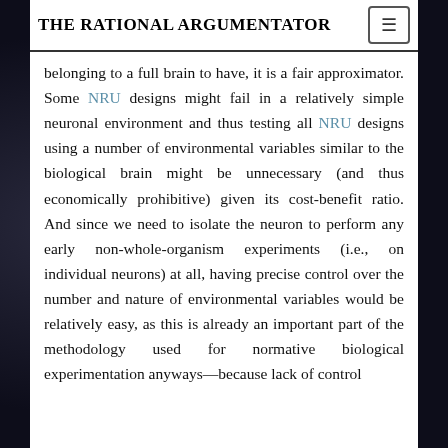THE RATIONAL ARGUMENTATOR
belonging to a full brain to have, it is a fair approximator. Some NRU designs might fail in a relatively simple neuronal environment and thus testing all NRU designs using a number of environmental variables similar to the biological brain might be unnecessary (and thus economically prohibitive) given its cost-benefit ratio. And since we need to isolate the neuron to perform any early non-whole-organism experiments (i.e., on individual neurons) at all, having precise control over the number and nature of environmental variables would be relatively easy, as this is already an important part of the methodology used for normative biological experimentation anyways—because lack of control